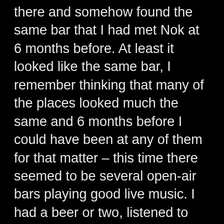there and somehow found the same bar that I had met Nok at 6 months before. At least it looked like the same bar, I remember thinking that many of the places looked much the same and 6 months before I could have been at any of them for that matter – this time there seemed to be several open-air bars playing good live music. I had a beer or two, listened to some great music, and was getting ready to call it a night, when this Thai lady approached me. At first I didn't recognize her, still being in a bit of a daze from the jet lag. Then, as if out of a dream, I realized it was her! Wow, she seemed more beautiful this time around – a really strange “déjà vu” type of experience. In a city of 10 million, I just thought the odds of this to be almost nil.